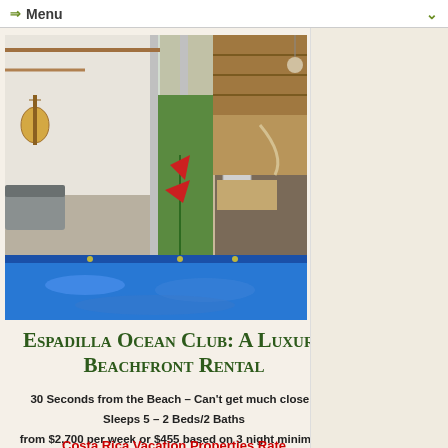⇒ Menu
[Figure (photo): Interior and exterior view of a tropical vacation villa with sliding glass doors, living area with guitar on wall, kitchen, pool in foreground, and thatched roof palapa with hammock on right side]
Espadilla Ocean Club: A Luxury Beachfront Rental
30 Seconds from the Beach – Can't get much closer!
Sleeps 5 – 2 Beds/2 Baths
from $2,700 per week or $455 based on 3 night minimum
Costa Rica Vacation Properties Rate